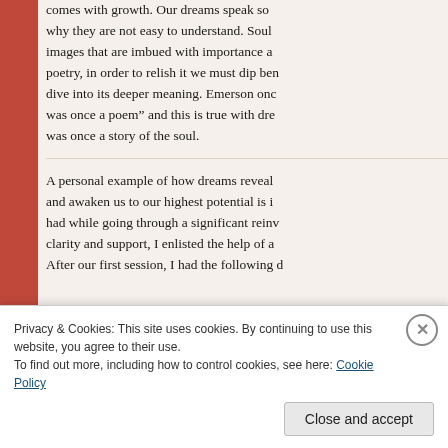comes with growth. Our dreams speak so why they are not easy to understand. Soul images that are imbued with importance a poetry, in order to relish it we must dip ben dive into its deeper meaning. Emerson onc was once a poem” and this is true with dre was once a story of the soul.
A personal example of how dreams reveal and awaken us to our highest potential is i had while going through a significant reinv clarity and support, I enlisted the help of a After our first session, I had the following d
Privacy & Cookies: This site uses cookies. By continuing to use this website, you agree to their use.
To find out more, including how to control cookies, see here: Cookie Policy
Close and accept